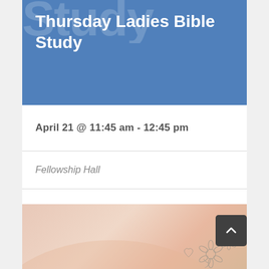Thursday Ladies Bible Study
April 21 @ 11:45 am - 12:45 pm
Fellowship Hall
Find out more ›
[Figure (illustration): Decorative bottom banner with peach/pink watercolor background and floral line illustrations]